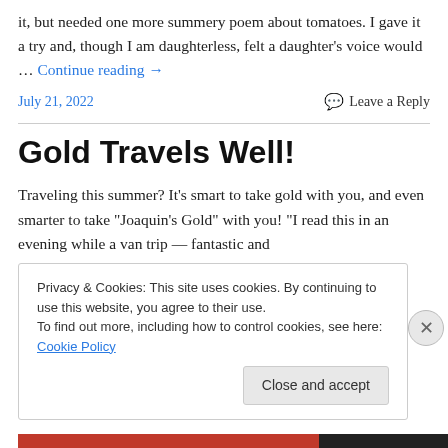it, but needed one more summery poem about tomatoes. I gave it a try and, though I am daughterless, felt a daughter's voice would … Continue reading →
July 21, 2022    💬 Leave a Reply
Gold Travels Well!
Traveling this summer? It's smart to take gold with you, and even smarter to take "Joaquin's Gold" with you! "I read this in an evening while a van trip — fantastic and
Privacy & Cookies: This site uses cookies. By continuing to use this website, you agree to their use.
To find out more, including how to control cookies, see here: Cookie Policy
Close and accept